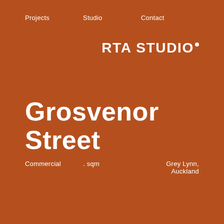Projects   Studio   Contact
RTA STUDIO·
Grosvenor Street
Commercial   . sqm   Grey Lynn, Auckland